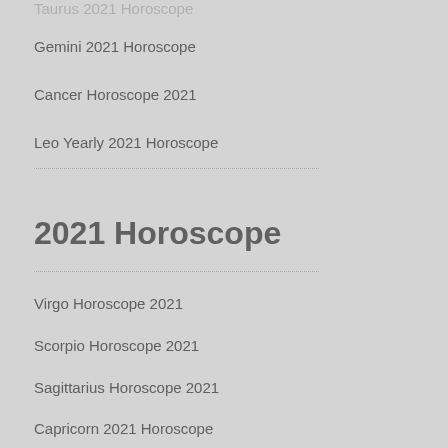Taurus 2021 Horoscope
Gemini 2021 Horoscope
Cancer Horoscope 2021
Leo Yearly 2021 Horoscope
2021 Horoscope
Virgo Horoscope 2021
Scorpio Horoscope 2021
Sagittarius Horoscope 2021
Capricorn 2021 Horoscope